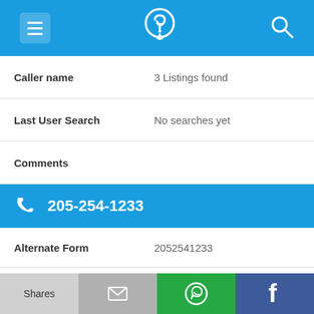[Figure (screenshot): Mobile app top navigation bar with menu hamburger icon, phone/location logo, and search icon on blue background]
Caller name    3 Listings found
Last User Search    No searches yet
Comments
205-254-1233
Alternate Form    2052541233
Caller name    3 Listings found
Last User Search    No searches yet
[Figure (screenshot): Bottom share bar with Shares, email, WhatsApp, and Facebook buttons]